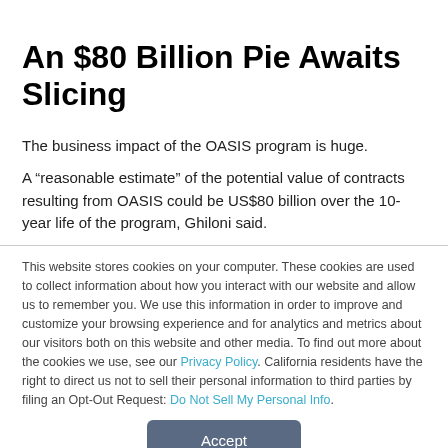An $80 Billion Pie Awaits Slicing
The business impact of the OASIS program is huge.
A “reasonable estimate” of the potential value of contracts resulting from OASIS could be US$80 billion over the 10-year life of the program, Ghiloni said.
This website stores cookies on your computer. These cookies are used to collect information about how you interact with our website and allow us to remember you. We use this information in order to improve and customize your browsing experience and for analytics and metrics about our visitors both on this website and other media. To find out more about the cookies we use, see our Privacy Policy. California residents have the right to direct us not to sell their personal information to third parties by filing an Opt-Out Request: Do Not Sell My Personal Info.
Accept